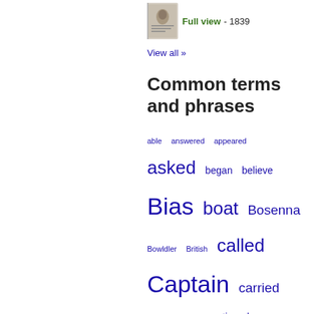[Figure (other): Small book thumbnail image with portrait on cover]
Full view - 1839
View all »
Common terms and phrases
able  answered  appeared  asked  began  believe  Bias  boat  Bosenna  Bowldler  British  called  Captain  carried  close  comes  continued  course  don't  English  Etherington  eyes  face  fact  fear  feet  felt  fire  follow  force  four  French